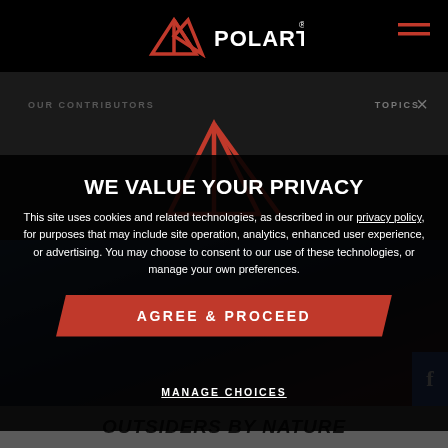[Figure (logo): Polartec logo with mountain/triangle icon in red and white text on black background]
OUR CONTRIBUTORS
TOPICS
[Figure (logo): Polartec red triangle/mountain logo (large, centered in nav panel)]
WE VALUE YOUR PRIVACY
This site uses cookies and related technologies, as described in our privacy policy, for purposes that may include site operation, analytics, enhanced user experience, or advertising. You may choose to consent to our use of these technologies, or manage your own preferences.
AGREE & PROCEED
MANAGE CHOICES
OUTSIDERS BY NATURE